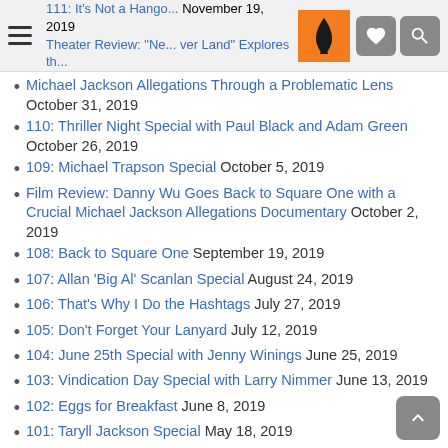111: It's Not a Hangover November 19, 2019 | Theater Review: "Never Land" Explores the Michael Jackson Allegations Through a Problematic Lens October 31, 2019
110: Thriller Night Special with Paul Black and Adam Green October 26, 2019
109: Michael Trapson Special October 5, 2019
Film Review: Danny Wu Goes Back to Square One with a Crucial Michael Jackson Allegations Documentary October 2, 2019
108: Back to Square One September 19, 2019
107: Allan 'Big Al' Scanlan Special August 24, 2019
106: That's Why I Do the Hashtags July 27, 2019
105: Don't Forget Your Lanyard July 12, 2019
104: June 25th Special with Jenny Winings June 25, 2019
103: Vindication Day Special with Larry Nimmer June 13, 2019
102: Eggs for Breakfast June 8, 2019
101: Taryll Jackson Special May 18, 2019
100: Brad Buxer Special May 5, 2019
099: Leaving Neverland Q&A April 18, 2019
098: We Had a Break…Allegedly… March 31, 2019